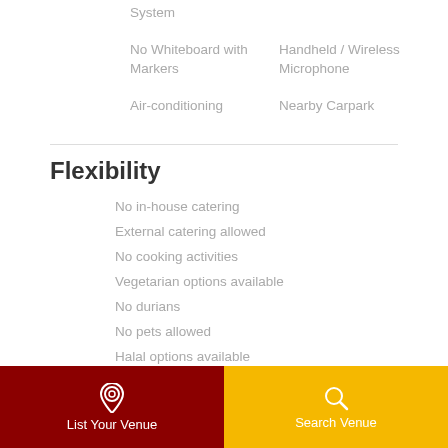System
No Whiteboard with Markers
Handheld / Wireless Microphone
Air-conditioning
Nearby Carpark
Flexibility
No in-house catering
External catering allowed
No cooking activities
Vegetarian options available
No durians
No pets allowed
Halal options available
Alcoholic drinks allowed
List Your Venue   Search Venue